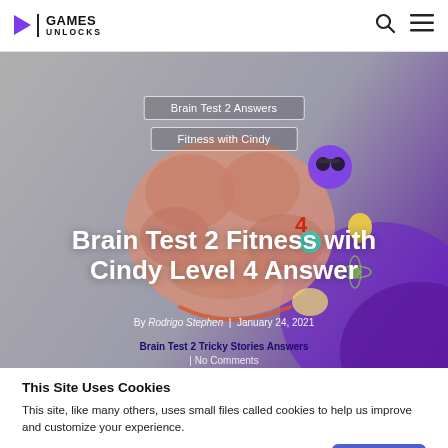GAMES UNLOCKS
[Figure (illustration): Hero banner with brain illustration, gradient background from gray to purple, showing a cartoon brain with various characters. Contains breadcrumb links 'Brain Test 2 Answers' and 'Fitness with Cindy', main title 'Brain Test 2 Fitness with Cindy Level 4 Answer', byline 'By Rodrigo Stephen | January 24, 2021', category 'Brain Test 2 Tricky Stories Answers', and 'No Comments'.]
This Site Uses Cookies
This site, like many others, uses small files called cookies to help us improve and customize your experience.